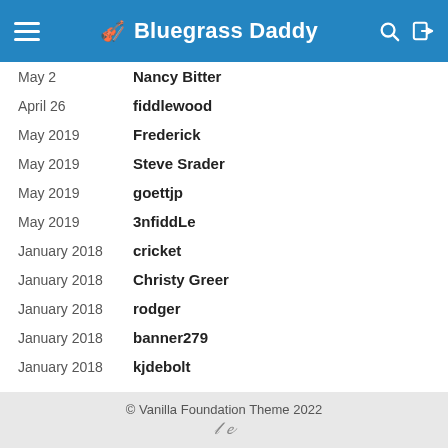🎻 Bluegrass Daddy
May 2  Nancy Bitter
April 26  fiddlewood
May 2019  Frederick
May 2019  Steve Srader
May 2019  goettjp
May 2019  3nfiddLe
January 2018  cricket
January 2018  Christy Greer
January 2018  rodger
January 2018  banner279
January 2018  kjdebolt
© Vanilla Foundation Theme 2022